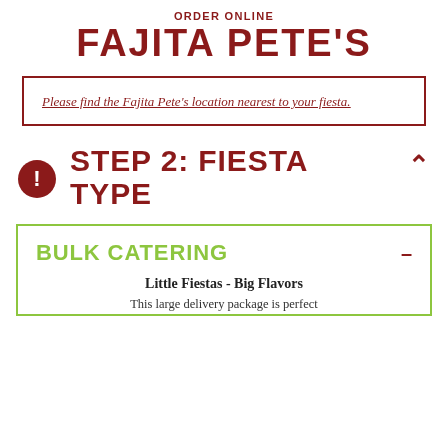ORDER ONLINE
FAJITA PETE'S
Please find the Fajita Pete's location nearest to your fiesta.
STEP 2: FIESTA TYPE
BULK CATERING
Little Fiestas - Big Flavors
This large delivery package is perfect